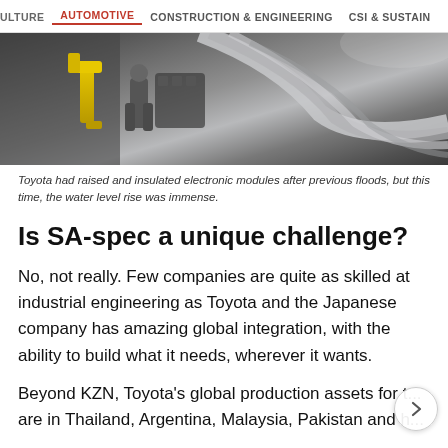ULTURE  AUTOMOTIVE  CONSTRUCTION & ENGINEERING  CSI & SUSTAIN
[Figure (photo): Photo of a car manufacturing plant with robotic equipment and curved metal parts on an assembly line.]
Toyota had raised and insulated electronic modules after previous floods, but this time, the water level rise was immense.
Is SA-spec a unique challenge?
No, not really. Few companies are quite as skilled at industrial engineering as Toyota and the Japanese company has amazing global integration, with the ability to build what it needs, wherever it wants.
Beyond KZN, Toyota's global production assets for t... are in Thailand, Argentina, Malaysia, Pakistan and h...